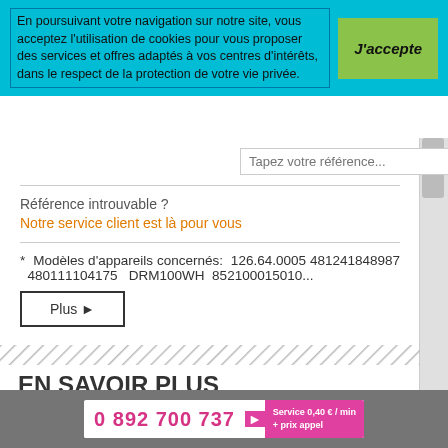En poursuivant votre navigation sur notre site, vous acceptez l'utilisation de cookies pour vous proposer des services et offres adaptés à vos centres d'intérêts, dans le respect de la protection de votre vie privée.
J'accepte
Tapez votre référence...
Référence introuvable ?
Notre service client est là pour vous
* Modèles d'appareils concernés: 126.64.0005 481241848987 480111104175 DRM100WH 852100015010...
Plus ▶
EN SAVOIR PLUS
Pour toute demande complémentaire, appelez-nous au 0 892 700 737.
0 892 700 737  Service 0,40 € / min + prix appel